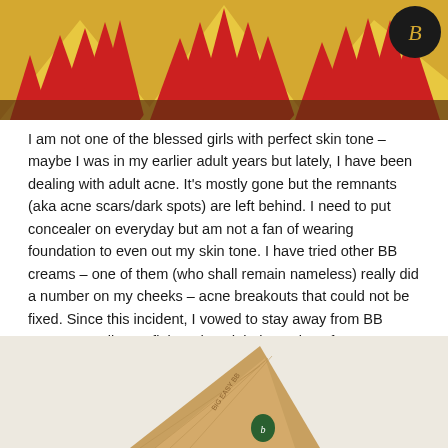[Figure (photo): Circus/carnival tent with red and yellow stripes, with a logo in the top right corner]
I am not one of the blessed girls with perfect skin tone – maybe I was in my earlier adult years but lately, I have been dealing with adult acne. It's mostly gone but the remnants (aka acne scars/dark spots) are left behind. I need to put concealer on everyday but am not a fan of wearing foundation to even out my skin tone. I have tried other BB creams – one of them (who shall remain nameless) really did a number on my cheeks – acne breakouts that could not be fixed. Since this incident, I vowed to stay away from BB creams...until Benefit introduced their version of a BB cream: Big Easy.
[Figure (photo): A Benefit Big Easy BB cream product on a light beige/cream background]